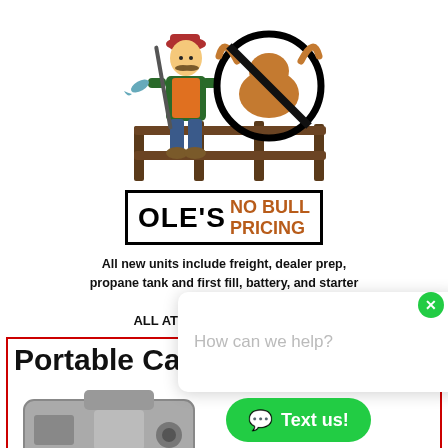[Figure (logo): Ole's No Bull Pricing logo: cartoon hunter/fisherman with a fence and a no-bull (cow with a crossed-out circle) sign, plus the text OLE'S NO BULL PRICING in a bordered box]
All new units include freight, dealer prep, propane tank and first fill, battery, and starter kit. ALL AT THE LOWEST PRICE!
Portable Camper Generators
[Figure (photo): Photo of a portable camper generator, silver/grey metallic unit with handle]
[Figure (screenshot): Chat popup overlay saying 'How can we help?' with a green X close button and a green 'Text us!' button]